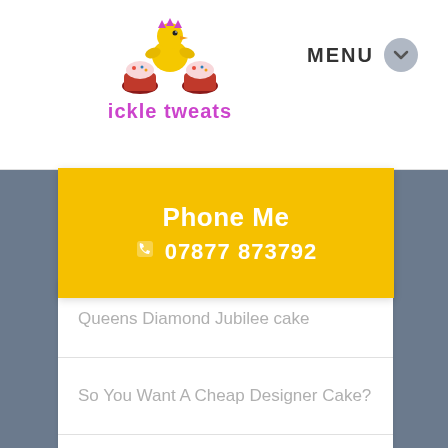[Figure (logo): Ickle Tweats logo — cartoon yellow chick with cupcake decorations above stylized pink/purple text 'ickle tweats']
MENU
Phone Me
07877 873792
Queens Diamond Jubilee cake
So You Want A Cheap Designer Cake?